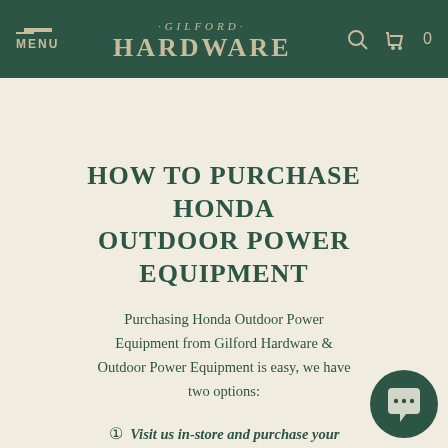MENU | ·GILFORD· HARDWARE | 🔍 | 🛒 0
HOW TO PURCHASE HONDA OUTDOOR POWER EQUIPMENT
Purchasing Honda Outdoor Power Equipment from Gilford Hardware & Outdoor Power Equipment is easy, we have two options:
① Visit us in-store and purchase your Honda Power Equipment in person.
② Contact us and confirm availability, Pay